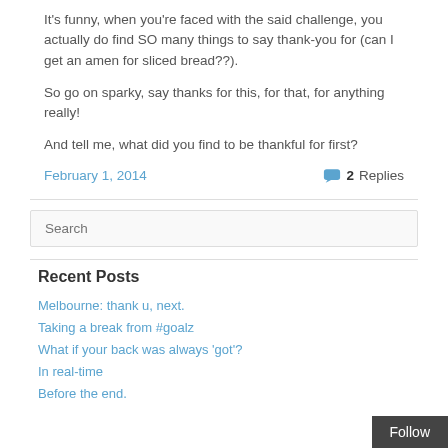It's funny, when you're faced with the said challenge, you actually do find SO many things to say thank-you for (can I get an amen for sliced bread??).
So go on sparky, say thanks for this, for that, for anything really!
And tell me, what did you find to be thankful for first?
February 1, 2014    2 Replies
Search
Recent Posts
Melbourne: thank u, next.
Taking a break from #goalz
What if your back was always 'got'?
In real-time
Before the end.